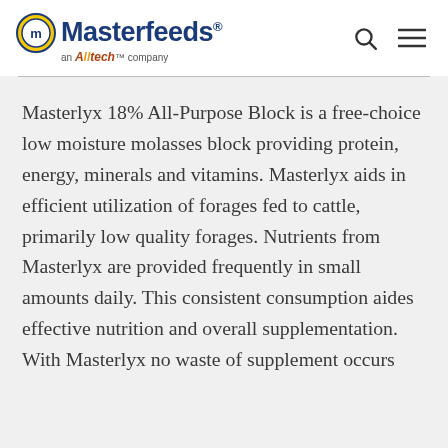Masterfeeds® an Alltech company
Masterlyx 18% All-Purpose Block is a free-choice low moisture molasses block providing protein, energy, minerals and vitamins. Masterlyx aids in efficient utilization of forages fed to cattle, primarily low quality forages. Nutrients from Masterlyx are provided frequently in small amounts daily. This consistent consumption aides effective nutrition and overall supplementation. With Masterlyx no waste of supplement occurs